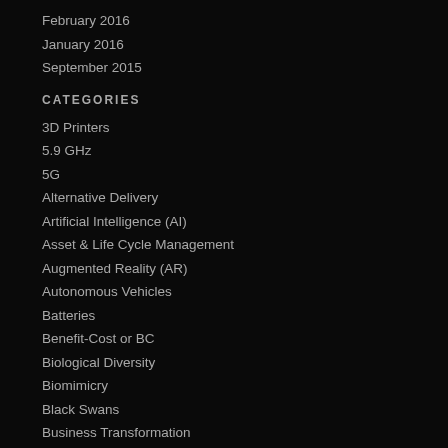February 2016
January 2016
September 2015
CATEGORIES
3D Printers
5.9 GHz
5G
Alternative Delivery
Artificial Intelligence (AI)
Asset & Life Cycle Management
Augmented Reality (AR)
Autonomous Vehicles
Batteries
Benefit-Cost or BC
Biological Diversity
Biomimicry
Black Swans
Business Transformation
Clean Energy
Climate
Cloud Services
Collaboration